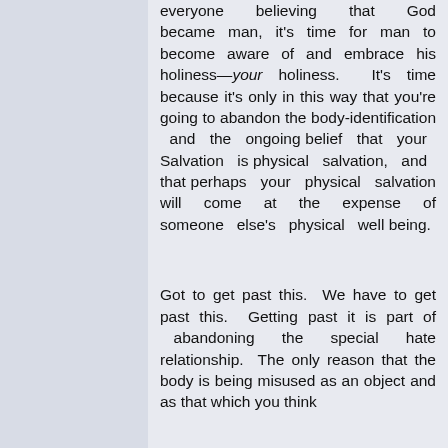everyone believing that God became man, it's time for man to become aware of and embrace his holiness—your holiness. It's time because it's only in this way that you're going to abandon the body-identification and the ongoing belief that your Salvation is physical salvation, and that perhaps your physical salvation will come at the expense of someone else's physical well being.

Got to get past this. We have to get past this. Getting past it is part of abandoning the special hate relationship. The only reason that the body is being misused as an object and as that which you think